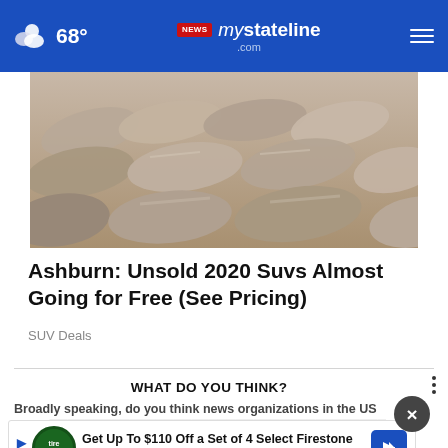68° mystateline.com NEWS
[Figure (photo): Aerial/lot view of many unsold cars parked closely together, dusty/sandy colored vehicles]
Ashburn: Unsold 2020 Suvs Almost Going for Free (See Pricing)
SUV Deals
WHAT DO YOU THINK?
Broadly speaking, do you think news organizations in the US make effort
[Figure (other): Advertisement banner: Get Up To $110 Off a Set of 4 Select Firestone Tires]
Too much effort